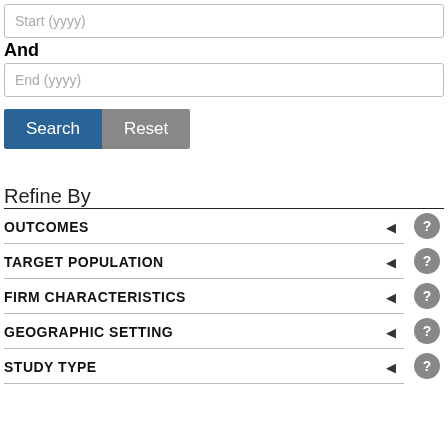Start (yyyy)
And
End (yyyy)
Search
Reset
Refine By
OUTCOMES
TARGET POPULATION
FIRM CHARACTERISTICS
GEOGRAPHIC SETTING
STUDY TYPE